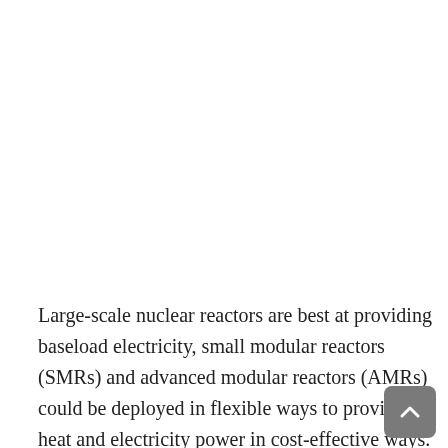Large-scale nuclear reactors are best at providing baseload electricity, small modular reactors (SMRs) and advanced modular reactors (AMRs) could be deployed in flexible ways to provide heat and electricity power in cost-effective ways. Innovations in nuclear technology is